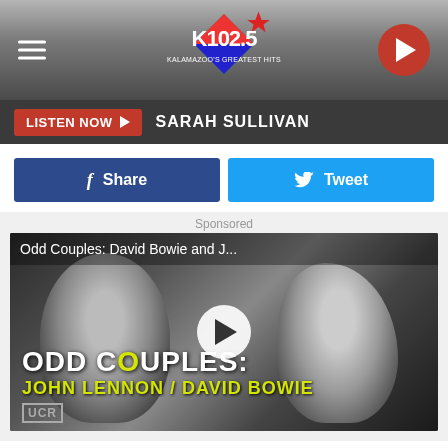[Figure (screenshot): K102.5 radio station header with hamburger menu icon, K102.5 logo (Kalamazoo's Greatest Hits), and red play button circle on dark gradient background]
LISTEN NOW ▶  SARAH SULLIVAN
[Figure (screenshot): Facebook Share button (blue) and Twitter Tweet button (light blue) side by side]
Sponsored
[Figure (screenshot): Video thumbnail showing black and white photo of John Lennon and David Bowie with overlay text 'ODD COUPLES: JOHN LENNON / DAVID BOWIE' and play button. Title: 'Odd Couples: David Bowie and J...']
According to Wikipedia, anteaters started out in South America. In fact, "anteater" is a common name for the four